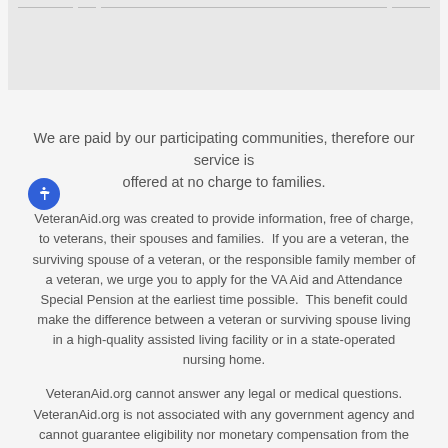[Figure (other): Gray box at top of page with horizontal divider lines, partially visible table or form element]
We are paid by our participating communities, therefore our service is offered at no charge to families.
VeteranAid.org was created to provide information, free of charge, to veterans, their spouses and families.  If you are a veteran, the surviving spouse of a veteran, or the responsible family member of a veteran, we urge you to apply for the VA Aid and Attendance Special Pension at the earliest time possible.  This benefit could make the difference between a veteran or surviving spouse living in a high-quality assisted living facility or in a state-operated nursing home.
VeteranAid.org cannot answer any legal or medical questions.  VeteranAid.org is not associated with any government agency and cannot guarantee eligibility nor monetary compensation from the Aid & Attendance Special Pension.
*Figures are from the Veteran's Administration as of 01/01/15  Please contact the VA to verify current Aid and Attendance monthly payments.